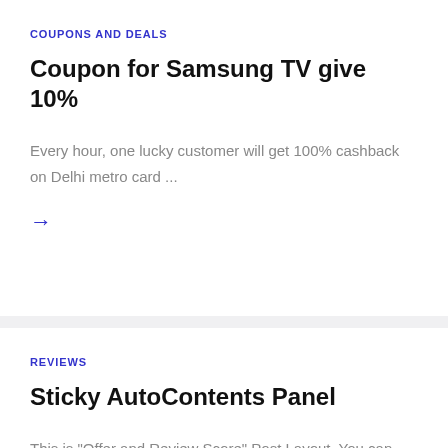COUPONS AND DEALS
Coupon for Samsung TV give 10%
Every hour, one lucky customer will get 100% cashback on Delhi metro card ...
→
REVIEWS
Sticky AutoContents Panel
This is "Offer and Review Score" Post Layout. You can also add sticky contents panel ...